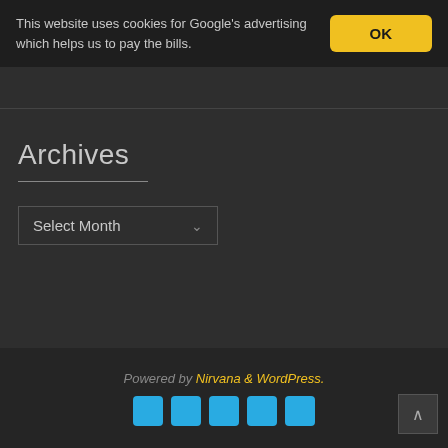This website uses cookies for Google's advertising which helps us to pay the bills.
OK
Archives
[Figure (screenshot): A dropdown select box labeled 'Select Month' with a chevron arrow on the right]
Powered by Nirvana & WordPress.
[Figure (infographic): Row of social media icons in blue and cyan colors at the bottom of the page]